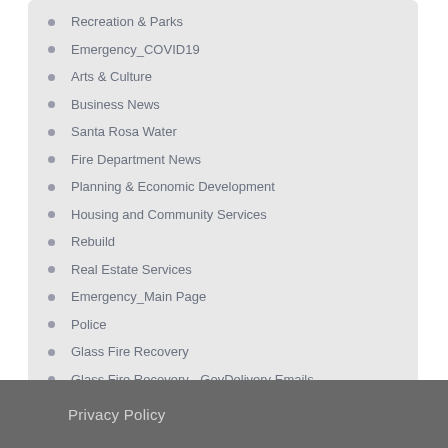Recreation & Parks
Emergency_COVID19
Arts & Culture
Business News
Santa Rosa Water
Fire Department News
Planning & Economic Development
Housing and Community Services
Rebuild
Real Estate Services
Emergency_Main Page
Police
Glass Fire Recovery
Glass Fire Recovery - GovDelivery Emails
Santa Rosa Water-Drought
CIRO_City Connections
Santa Rosa Water - Creek Stewardship
Privacy Policy